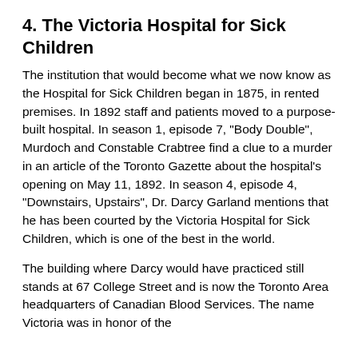4. The Victoria Hospital for Sick Children
The institution that would become what we now know as the Hospital for Sick Children began in 1875, in rented premises. In 1892 staff and patients moved to a purpose-built hospital. In season 1, episode 7, "Body Double", Murdoch and Constable Crabtree find a clue to a murder in an article of the Toronto Gazette about the hospital's opening on May 11, 1892. In season 4, episode 4, "Downstairs, Upstairs", Dr. Darcy Garland mentions that he has been courted by the Victoria Hospital for Sick Children, which is one of the best in the world.
The building where Darcy would have practiced still stands at 67 College Street and is now the Toronto Area headquarters of Canadian Blood Services. The name Victoria was in honor of the